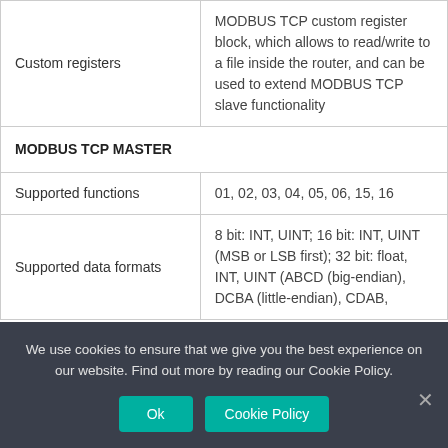|  |  |
| --- | --- |
| Custom registers | MODBUS TCP custom register block, which allows to read/write to a file inside the router, and can be used to extend MODBUS TCP slave functionality |
| MODBUS TCP MASTER |  |
| Supported functions | 01, 02, 03, 04, 05, 06, 15, 16 |
| Supported data formats | 8 bit: INT, UINT; 16 bit: INT, UINT (MSB or LSB first); 32 bit: float, INT, UINT (ABCD (big-endian), DCBA (little-endian), CDAB, |
We use cookies to ensure that we give you the best experience on our website. Find out more by reading our Cookie Policy.